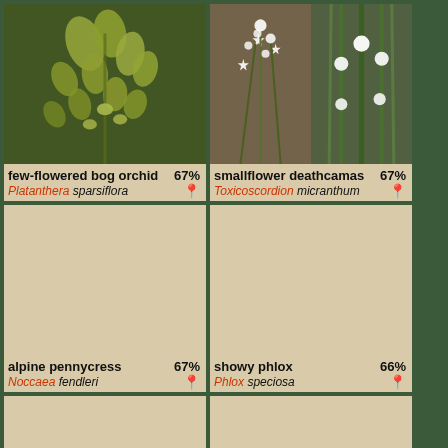[Figure (photo): Photo of few-flowered bog orchid (Platanthera sparsiflora) showing yellowish-green flowers and buds]
few-flowered bog orchid 67%
Platanthera sparsiflora
[Figure (photo): Two photos of smallflower deathcamas (Toxicoscordion micranthum) showing white star-shaped flowers and green stems]
smallflower deathcamas 67%
Toxicoscordion micranthum
[Figure (photo): Placeholder image for alpine pennycress (Noccaea fendleri) - blank tan area]
alpine pennycress 67%
Noccaea fendleri
[Figure (photo): Placeholder image for showy phlox (Phlox speciosa) - blank tan area]
showy phlox 66%
Phlox speciosa
[Figure (photo): Blank tan area - third row left cell]
[Figure (photo): Blank tan area - third row right cell]